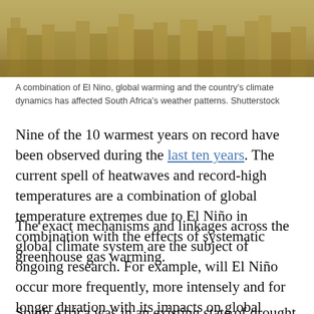[Figure (photo): Aerial/elevated view of a city with buildings, tinted in warm golden-brown tones. Attributed to Shutterstock.]
A combination of El Nino, global warming and the country's climate dynamics has affected South Africa's weather patterns. Shutterstock
Nine of the 10 warmest years on record have been observed during the last ten years. The current spell of heatwaves and record-high temperatures are a combination of global temperature extremes due to El Niño in combination with the effects of systematic greenhouse gas warming.
The exact mechanisms and linkages across the global climate system are the subject of ongoing research. For example, will El Niño occur more frequently, more intensely and for longer duration with its impacts on global weather in the future?
South Africa was in an existing state of drought